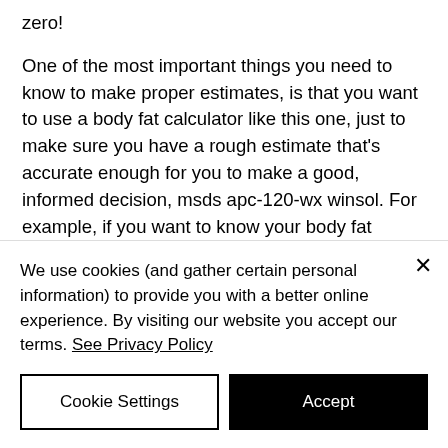zero!

One of the most important things you need to know to make proper estimates, is that you want to use a body fat calculator like this one, just to make sure you have a rough estimate that's accurate enough for you to make a good, informed decision, msds apc-120-wx winsol. For example, if you want to know your body fat percentage, you know you want your weight in pounds divided by a decimal, which is 50 pounds. You calculate 50 x 100, anadrol bodybuilding. For example,
We use cookies (and gather certain personal information) to provide you with a better online experience. By visiting our website you accept our terms. See Privacy Policy
Cookie Settings
Accept